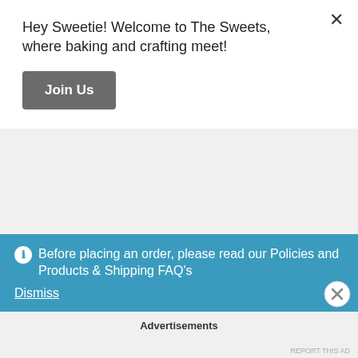Hey Sweetie! Welcome to The Sweets, where baking and crafting meet!
Join Us
collab and a term to get me where I wanted to be with the book. I found that journaling is relaxing, no matter what type of journaling you're doing. So if you have a creative side or like to write creatively about your day or a trip, do it.
Before placing an order, please read our Policies and Products & Shipping FAQ's
Dismiss
Advertisements